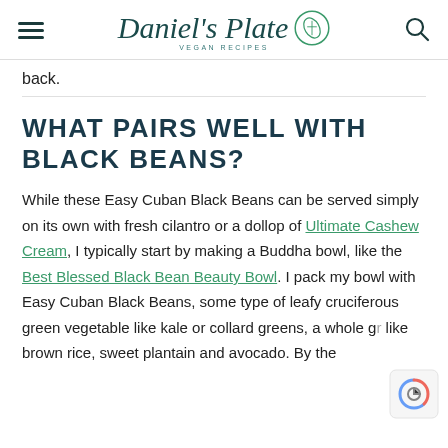Daniel's Plate VEGAN RECIPES
back.
WHAT PAIRS WELL WITH BLACK BEANS?
While these Easy Cuban Black Beans can be served simply on its own with fresh cilantro or a dollop of Ultimate Cashew Cream, I typically start by making a Buddha bowl, like the Best Blessed Black Bean Beauty Bowl. I pack my bowl with Easy Cuban Black Beans, some type of leafy cruciferous green vegetable like kale or collard greens, a whole g like brown rice, sweet plantain and avocado. By the